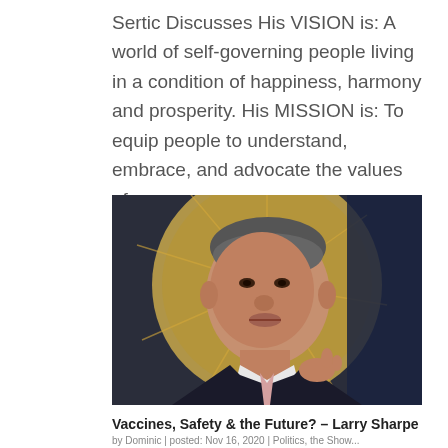Sertic Discusses His VISION is: A world of self-governing people living in a condition of happiness, harmony and prosperity. His MISSION is: To equip people to understand, embrace, and advocate the values of...
[Figure (photo): A man in a dark suit with a pink tie speaking at a podium, with a large golden seal visible in the background.]
Vaccines, Safety & the Future? – Larry Sharpe
by Dominic | posted: Nov 16, 2020 | Politics, the Show...